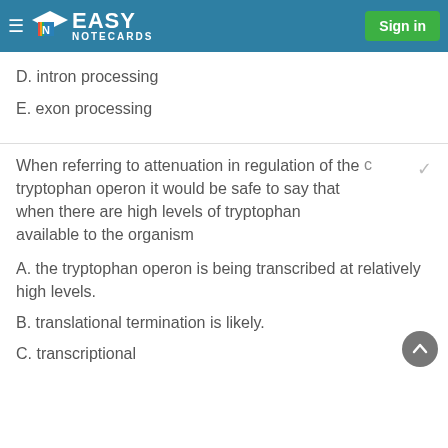Easy Notecards — Sign in
D. intron processing
E. exon processing
When referring to attenuation in regulation of the tryptophan operon it would be safe to say that when there are high levels of tryptophan available to the organism
c
A. the tryptophan operon is being transcribed at relatively high levels.
B. translational termination is likely.
C. transcriptional